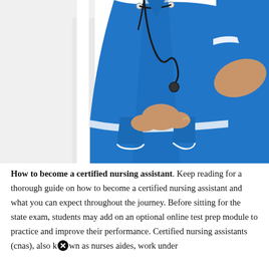[Figure (photo): A nurse in a blue uniform with white trim, wearing a stethoscope around her neck, holding a clipboard or object in front of her. The image is cropped showing the torso and partial upper body against a white background.]
How to become a certified nursing assistant. Keep reading for a thorough guide on how to become a certified nursing assistant and what you can expect throughout the journey. Before sitting for the state exam, students may add on an optional online test prep module to practice and improve their performance. Certified nursing assistants (cnas), also known as nurses aides, work under